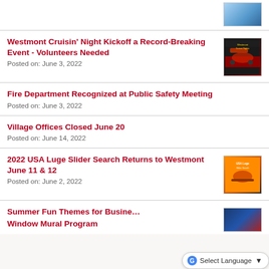[Figure (screenshot): Thumbnail image at top right, partially visible, blue sky background]
Westmont Cruisin' Night Kickoff a Record-Breaking Event - Volunteers Needed
Posted on: June 3, 2022
Fire Department Recognized at Public Safety Meeting
Posted on: June 3, 2022
Village Offices Closed June 20
Posted on: June 14, 2022
2022 USA Luge Slider Search Returns to Westmont June 11 & 12
Posted on: June 2, 2022
Summer Fun Themes for Business Window Mural Program